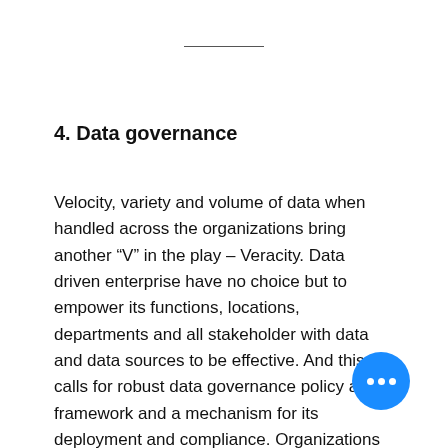4. Data governance
Velocity, variety and volume of data when handled across the organizations bring another “V” in the play – Veracity. Data driven enterprise have no choice but to empower its functions, locations, departments and all stakeholder with data and data sources to be effective. And this calls for robust data governance policy and framework and a mechanism for its deployment and compliance. Organizations are encouraged to leverage people, process and